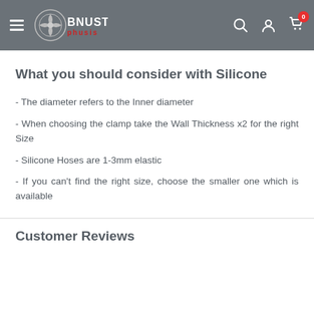Boost Phusis logo and navigation header
What you should consider with Silicone
- The diameter refers to the Inner diameter
- When choosing the clamp take the Wall Thickness x2 for the right Size
- Silicone Hoses are 1-3mm elastic
- If you can't find the right size, choose the smaller one which is available
Customer Reviews